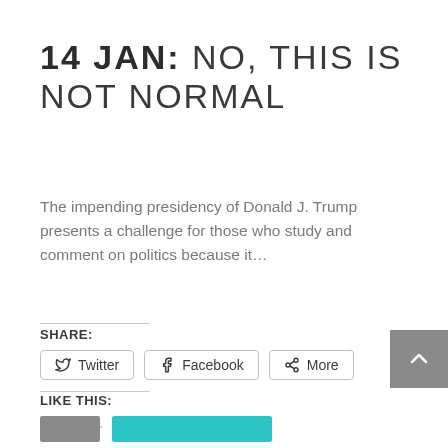14 JAN: NO, THIS IS NOT NORMAL
The impending presidency of Donald J. Trump presents a challenge for those who study and comment on politics because it…
SHARE:
[Figure (screenshot): Social share buttons: Twitter, Facebook, More]
LIKE THIS:
Loading…